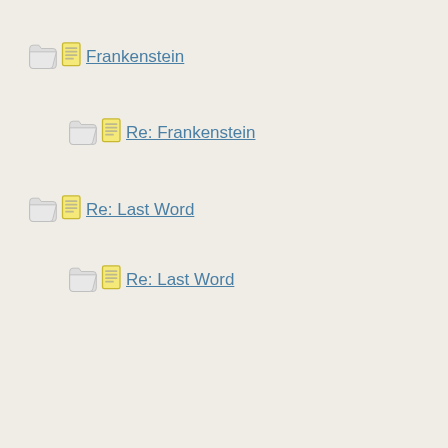Frankenstein
Re: Frankenstein
Re: Last Word
Re: Last Word
Re: Last Word
Re: Last Word
Re: Last Word
Re: Last Word
(just to be provocative)
We're muddling through...
Re: (just to be provocative)